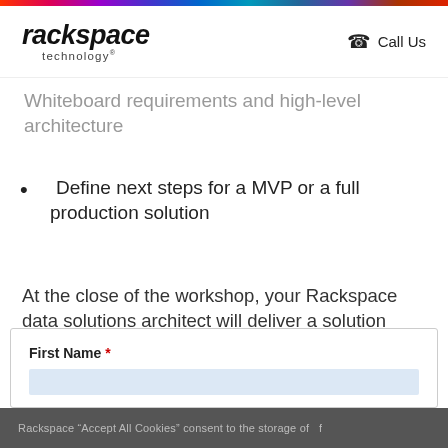rackspace technology | Call Us
Whiteboard requirements and high-level architecture
Define next steps for a MVP or a full production solution
At the close of the workshop, your Rackspace data solutions architect will deliver a solution architecture and recommendations report based on our shared findings.
First Name *
Rackspace "Accept All Cookies" consent to the storage of...